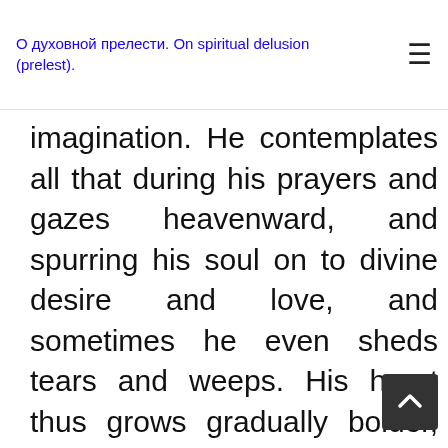О духовной прелести. On spiritual delusion (prelest).
imagination. He contemplates all that during his prayers and gazes heavenward, and spurring his soul on to divine desire and love, and sometimes he even sheds tears and weeps. His heart thus grows gradually bolder, without his oven being conscious of it. Not only that, but he also assumes that what is happening to him is the fruit of divine